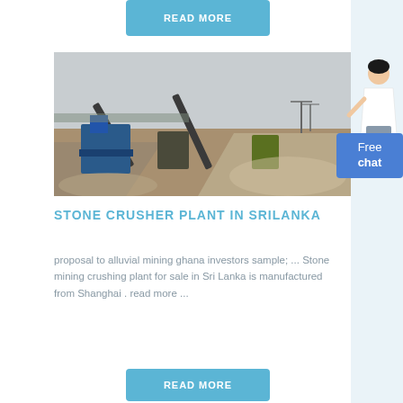READ MORE
[Figure (photo): Outdoor stone crushing plant with conveyor belts, blue machinery, gravel piles, and industrial equipment under overcast sky in Sri Lanka]
STONE CRUSHER PLANT IN SRILANKA
proposal to alluvial mining ghana investors sample; ... Stone mining crushing plant for sale in Sri Lanka is manufactured from Shanghai . read more ...
READ MORE